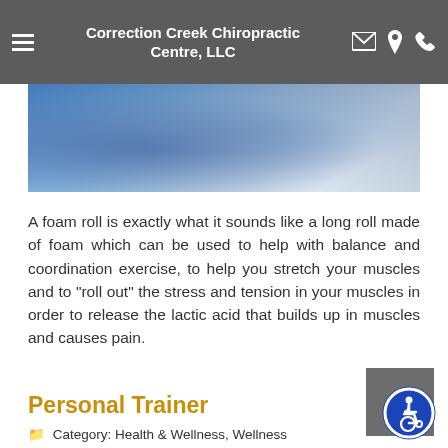Correction Creek Chiropractic Centre, LLC
[Figure (photo): Partial view of a person in blue clothing, likely lying down, close-up photo used as article banner]
A foam roll is exactly what it sounds like a long roll made of foam which can be used to help with balance and coordination exercise, to help you stretch your muscles and to "roll out" the stress and tension in your muscles in order to release the lactic acid that builds up in muscles and causes pain.
Read more
Personal Trainer
Category: Health & Wellness, Wellness Essentials, Exercise